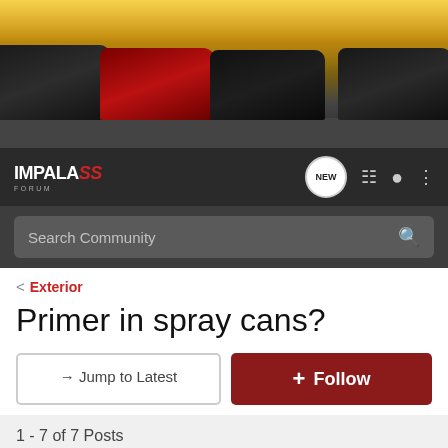[Figure (photo): Banner image showing four classic Chevrolet Impala SS cars (black, red, dark, dark) parked in a row with a cityscape and warm sky background]
IMPALA SS FORUM — navigation bar with logo, NEW badge, list icon, user icon, and menu icon
Search Community
< Exterior
Primer in spray cans?
→ Jump to Latest
+ Follow
1 - 7 of 7 Posts
1BAD9C1 · Registered
Joined Feb 16, 2010 · 262 Posts